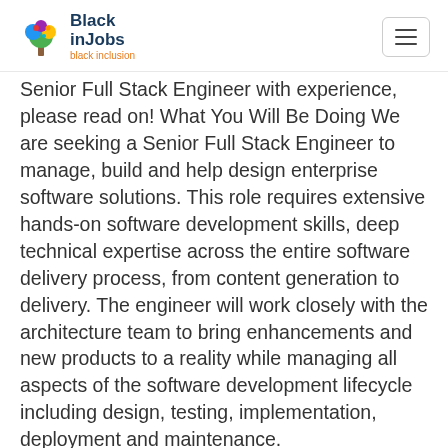BlackinJobs — black inclusion
Senior Full Stack Engineer with experience, please read on! What You Will Be Doing We are seeking a Senior Full Stack Engineer to manage, build and help design enterprise software solutions. This role requires extensive hands-on software development skills, deep technical expertise across the entire software delivery process, from content generation to delivery. The engineer will work closely with the architecture team to bring enhancements and new products to a reality while managing all aspects of the software development lifecycle including design, testing, implementation, deployment and maintenance.